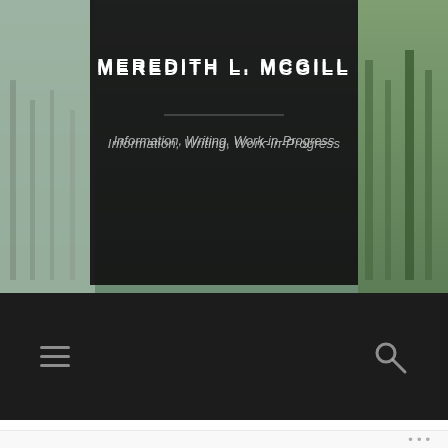[Figure (illustration): Website header for Meredith L. McGill blog, showing a misty landscape painting as background with a dark translucent panel in the center containing the site title and subtitle]
MEREDITH L. MCGILL
Information, Writing, Work-in-Progress
[Figure (other): Dark navigation bar with hamburger menu icon on the left and search (magnifying glass) icon on the right]
MLA 2011 #150: New Tools, Hard Times
...